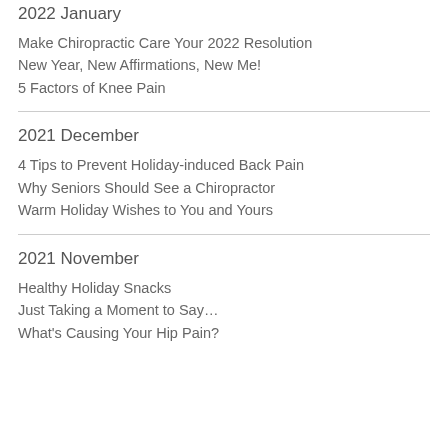2022 January
Make Chiropractic Care Your 2022 Resolution
New Year, New Affirmations, New Me!
5 Factors of Knee Pain
2021 December
4 Tips to Prevent Holiday-induced Back Pain
Why Seniors Should See a Chiropractor
Warm Holiday Wishes to You and Yours
2021 November
Healthy Holiday Snacks
Just Taking a Moment to Say…
What's Causing Your Hip Pain?